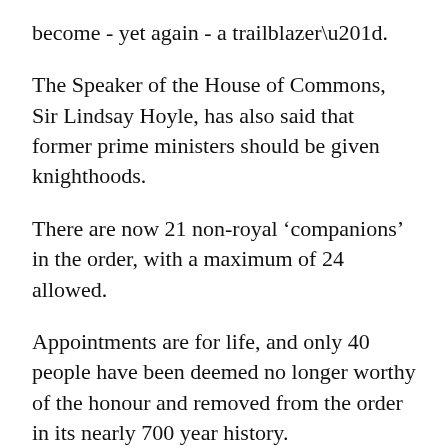become - yet again - a trailblazer”.
The Speaker of the House of Commons, Sir Lindsay Hoyle, has also said that former prime ministers should be given knighthoods.
There are now 21 non-royal ‘companions’ in the order, with a maximum of 24 allowed.
Appointments are for life, and only 40 people have been deemed no longer worthy of the honour and removed from the order in its nearly 700 year history.
While the petition has garnered hundreds of